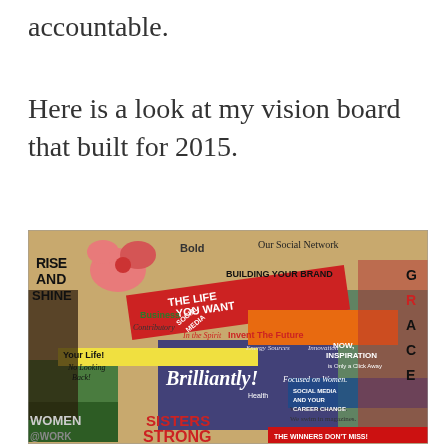accountable.
Here is a look at my vision board that built for 2015.
[Figure (photo): A colorful vision board collage featuring magazine clippings with motivational phrases including 'RISE AND SHINE', 'Bold', 'Our Social Network', 'BUILDING YOUR BRAND', 'THE LIFE YOU WANT', 'Business', 'Contributory', 'In the Spirit', 'Invent The Future', 'Brilliantly!', 'Your Life!', 'No Looking Back!', 'NOW INSPIRATION is Only a Click Away', 'Focused on Women', 'WOMEN @ WORK', 'SISTERS STRONG', 'We surf the Internet. We swim in magazines.', 'THE WINNERS DON'T MISS!', 'GRACE', 'SOCIAL MEDIA AND YOUR CAREER CHANGE', 'Health', 'Energy Sources', 'Innovation'. The board features images of women, flowers, and various colorful text overlays in red, orange, yellow, green, blue, and black.]